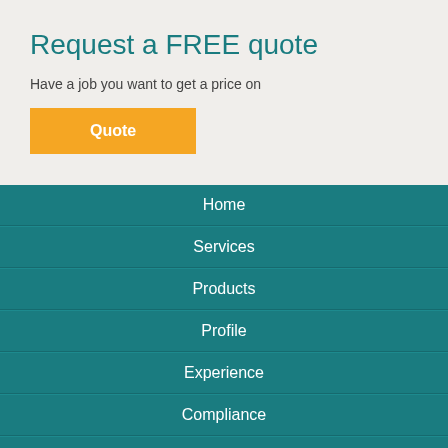Request a FREE quote
Have a job you want to get a price on
Quote
Home
Services
Products
Profile
Experience
Compliance
Quote
Careers
Contact Us